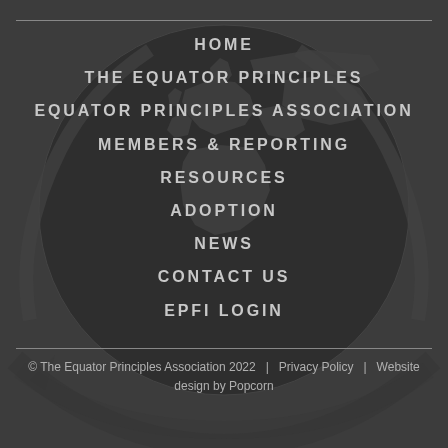[Figure (illustration): Dark globe illustration showing world map with swoosh/arrow graphic elements, dark charcoal background]
HOME
THE EQUATOR PRINCIPLES
EQUATOR PRINCIPLES ASSOCIATION
MEMBERS & REPORTING
RESOURCES
ADOPTION
NEWS
CONTACT US
EPFI LOGIN
© The Equator Principles Association 2022  |  Privacy Policy  |  Website design by Popcorn